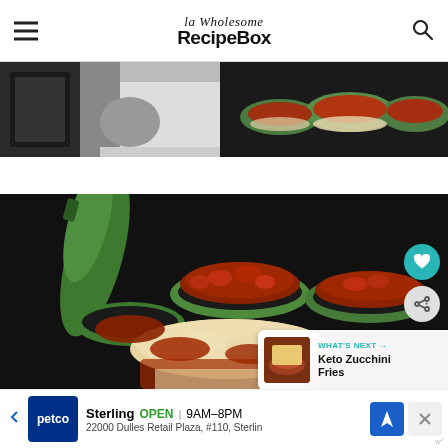la Wholesome RecipeBox
[Figure (photo): Two food photos side by side: left shows a black-and-white image of cooking preparation, right shows stuffed zucchini boats with tomato meat sauce and melted cheese]
[Figure (photo): Close-up photo of stuffed zucchini boats filled with tomato meat sauce and topped with melted mozzarella cheese, on a dark background]
WHAT'S NEXT → Keto Zucchini Fries
[Figure (photo): Petco advertisement: Sterling OPEN 9AM-8PM, 22000 Dulles Retail Plaza, #110, Sterling]